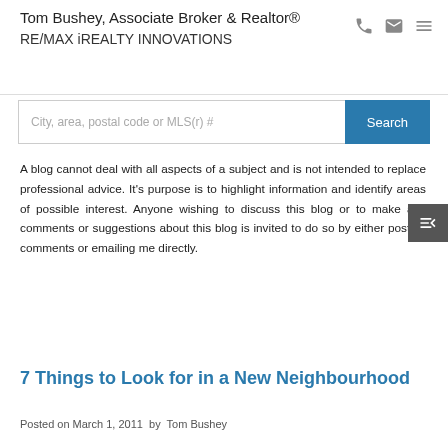Tom Bushey, Associate Broker & Realtor®
RE/MAX iREALTY INNOVATIONS
[Figure (screenshot): Search bar with placeholder text 'City, area, postal code or MLS(r) #' and a blue Search button]
A blog cannot deal with all aspects of a subject and is not intended to replace professional advice. It's purpose is to highlight information and identify areas of possible interest. Anyone wishing to discuss this blog or to make any comments or suggestions about this blog is invited to do so by either posting comments or emailing me directly.
7 Things to Look for in a New Neighbourhood
Posted on March 1, 2011  by  Tom Bushey